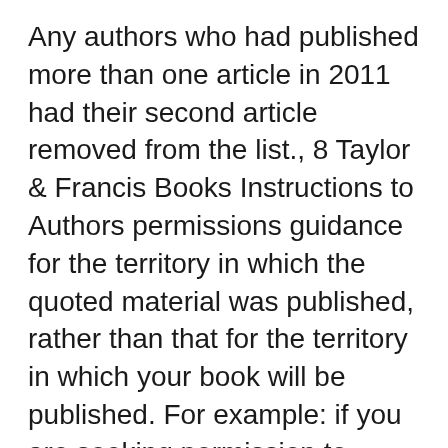Any authors who had published more than one article in 2011 had their second article removed from the list., 8 Taylor & Francis Books Instructions to Authors permissions guidance for the territory in which the quoted material was published, rather than that for the territory in which your book will be published. For example: if you are seeking permission to.
chapter 5, was increasingly geared to the reading public, and that public read English and not Latin. The overall trajectory amounted to the extension of the standard language to more and more domains. Yet, as we see in History of English chapter 6, this "program" had